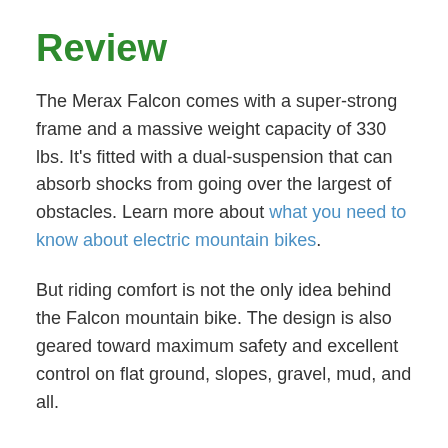Review
The Merax Falcon comes with a super-strong frame and a massive weight capacity of 330 lbs. It's fitted with a dual-suspension that can absorb shocks from going over the largest of obstacles. Learn more about what you need to know about electric mountain bikes.
But riding comfort is not the only idea behind the Falcon mountain bike. The design is also geared toward maximum safety and excellent control on flat ground, slopes, gravel, mud, and all.